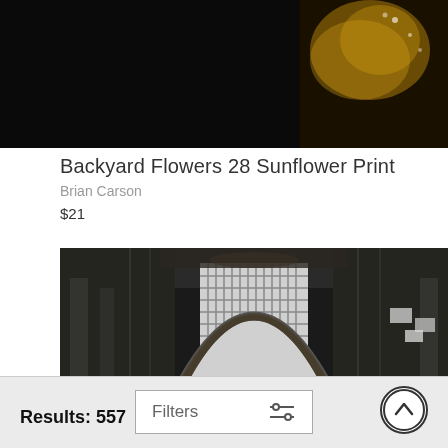[Figure (photo): Top portion of a photo showing a dark background with what appears to be a flower with water droplets and golden/yellow tones, partially cropped]
Backyard Flowers 28 Sunflower Print
Brian Carson
$21
[Figure (photo): Black and white interior photograph of a grand train station hall with large arched window, ornate ceiling, brick walls, a clock, and flags hanging from the ceiling]
Results: 557   Filters   [up arrow button]